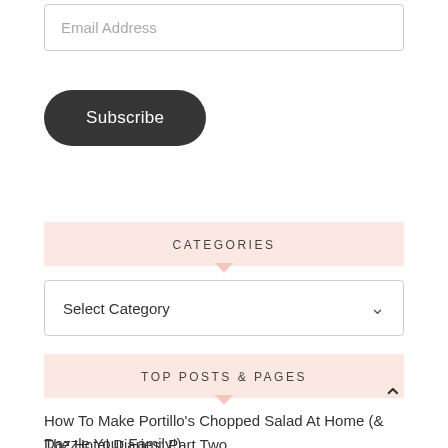Email Address
Subscribe
CATEGORIES
Select Category
TOP POSTS & PAGES
How To Make Portillo's Chopped Salad At Home (& Dazzle Your Family!)
The Hotel Diaries: Part Two